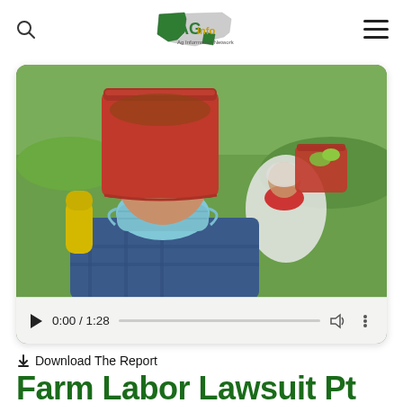[Figure (logo): AG Info USA logo: map of United States in green and gray with 'AG' text overlay in green and gold]
[Figure (photo): Two farm workers wearing face masks and carrying large red buckets on their shoulders in a green field. Foreground worker wears a blue Nike cap and light blue face mask. Background worker wears white clothing and a red bandana face mask. Video player controls bar at bottom showing 0:00 / 1:28.]
Download The Report
Farm Labor Lawsuit Pt